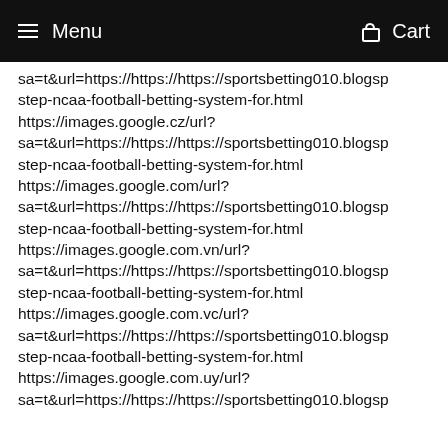Menu  Cart
sa=t&url=https://https://https://sportsbetting010.blogsp step-ncaa-football-betting-system-for.html https://images.google.cz/url? sa=t&url=https://https://https://sportsbetting010.blogsp step-ncaa-football-betting-system-for.html https://images.google.com/url? sa=t&url=https://https://https://sportsbetting010.blogsp step-ncaa-football-betting-system-for.html https://images.google.com.vn/url? sa=t&url=https://https://https://sportsbetting010.blogsp step-ncaa-football-betting-system-for.html https://images.google.com.vc/url? sa=t&url=https://https://https://sportsbetting010.blogsp step-ncaa-football-betting-system-for.html https://images.google.com.uy/url? sa=t&url=https://https://https://sportsbetting010.blogsp